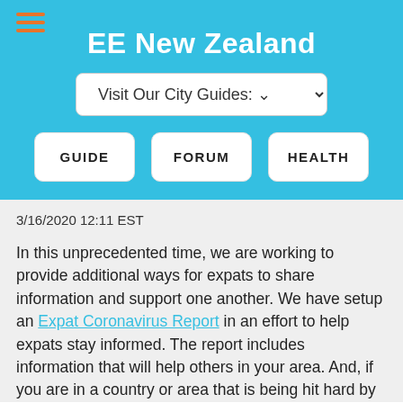EE New Zealand
Visit Our City Guides:
GUIDE
FORUM
HEALTH
3/16/2020 12:11 EST
In this unprecedented time, we are working to provide additional ways for expats to share information and support one another. We have setup an Expat Coronavirus Report in an effort to help expats stay informed. The report includes information that will help others in your area. And, if you are in a country or area that is being hit hard by